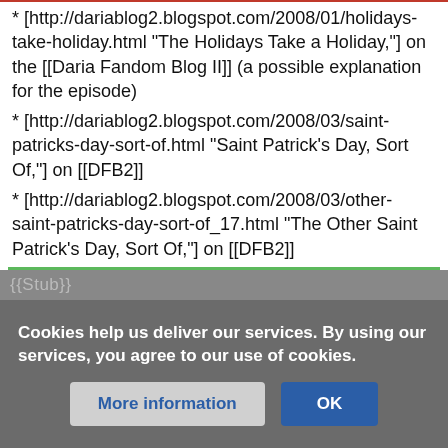* [http://dariablog2.blogspot.com/2008/01/holidays-take-holiday.html "The Holidays Take a Holiday,"] on the [[Daria Fandom Blog II]] (a possible explanation for the episode)
* [http://dariablog2.blogspot.com/2008/03/saint-patricks-day-sort-of.html "Saint Patrick's Day, Sort Of,"] on [[DFB2]]
* [http://dariablog2.blogspot.com/2008/03/other-saint-patricks-day-sort-of_17.html "The Other Saint Patrick's Day, Sort Of,"] on [[DFB2]]
* [https://archiveofourown.org/works/17623430/chapters/41550548 Episode Analysis] of [[The Old and the Beautiful]] and "Depth Takes A Holiday" by [[WellTemperedClavier]]
{{Stub}}
Cookies help us deliver our services. By using our services, you agree to our use of cookies.
More information | OK